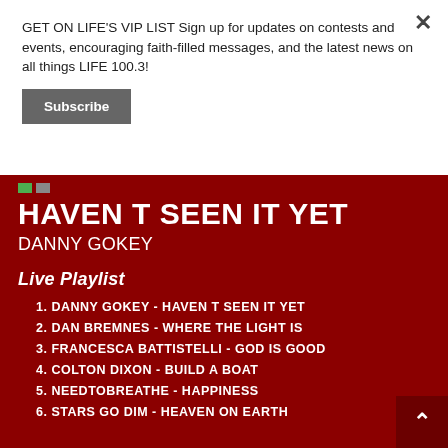GET ON LIFE'S VIP LIST Sign up for updates on contests and events, encouraging faith-filled messages, and the latest news on all things LIFE 100.3!
Subscribe
HAVEN T SEEN IT YET
DANNY GOKEY
Live Playlist
1. DANNY GOKEY - HAVEN T SEEN IT YET
2. DAN BREMNES - WHERE THE LIGHT IS
3. FRANCESCA BATTISTELLI - GOD IS GOOD
4. COLTON DIXON - BUILD A BOAT
5. NEEDTOBREATHE - HAPPINESS
6. STARS GO DIM - HEAVEN ON EARTH